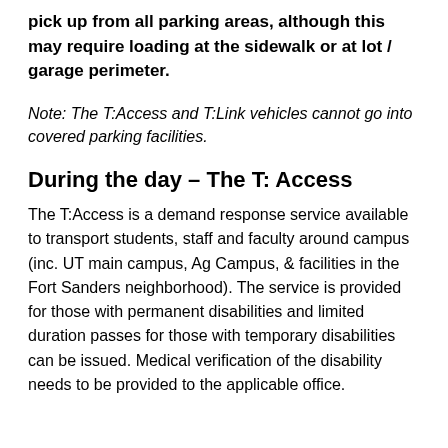pick up from all parking areas, although this may require loading at the sidewalk or at lot / garage perimeter.
Note: The T:Access and T:Link vehicles cannot go into covered parking facilities.
During the day – The T: Access
The T:Access is a demand response service available to transport students, staff and faculty around campus (inc. UT main campus, Ag Campus, & facilities in the Fort Sanders neighborhood). The service is provided for those with permanent disabilities and limited duration passes for those with temporary disabilities can be issued. Medical verification of the disability needs to be provided to the applicable office.